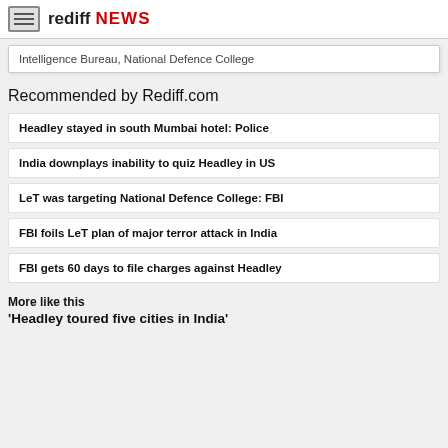rediff NEWS
Intelligence Bureau, National Defence College
Recommended by Rediff.com
Headley stayed in south Mumbai hotel: Police
India downplays inability to quiz Headley in US
LeT was targeting National Defence College: FBI
FBI foils LeT plan of major terror attack in India
FBI gets 60 days to file charges against Headley
More like this
'Headley toured five cities in India'